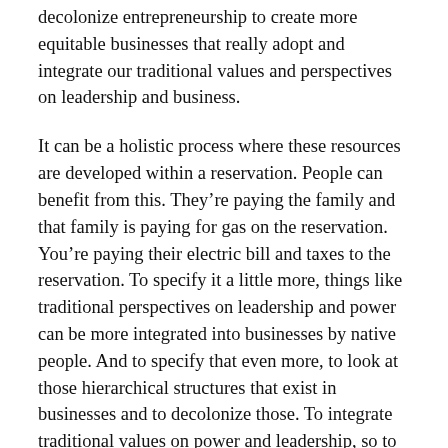decolonize entrepreneurship to create more equitable businesses that really adopt and integrate our traditional values and perspectives on leadership and business.
It can be a holistic process where these resources are developed within a reservation. People can benefit from this. They're paying the family and that family is paying for gas on the reservation. You're paying their electric bill and taxes to the reservation. To specify it a little more, things like traditional perspectives on leadership and power can be more integrated into businesses by native people. And to specify that even more, to look at those hierarchical structures that exist in businesses and to decolonize those. To integrate traditional values on power and leadership, so to create more equitable frameworks within businesses that value all voices. Like the voices of the elders in the community or the youth